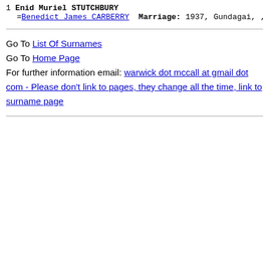1 Enid Muriel STUTCHBURY
   =Benedict James CARBERRY  Marriage: 1937, Gundagai, ,
Go To List Of Surnames
Go To Home Page
For further information email: warwick dot mccall at gmail dot com - Please don't link to pages, they change all the time, link to surname page